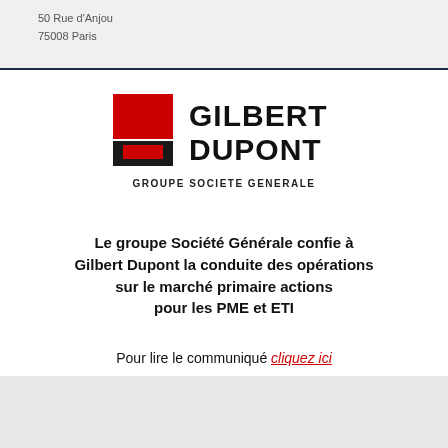50 Rue d'Anjou
75008 Paris
[Figure (logo): Gilbert Dupont logo with red and black square icon and text 'GILBERT DUPONT' in bold black, below 'GROUPE SOCIETE GENERALE' in smaller caps]
Le groupe Société Générale confie à Gilbert Dupont la conduite des opérations sur le marché primaire actions pour les PME et ETI
Pour lire le communiqué cliquez ici